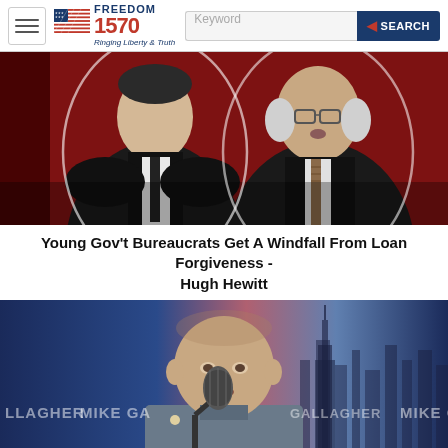FREEDOM 1570 - Ringing Liberty & Truth | Keyword Search
[Figure (photo): Black and white photo of two men in suits against a red background, stylized editorial image]
Young Gov't Bureaucrats Get A Windfall From Loan Forgiveness - Hugh Hewitt
[Figure (screenshot): Video screenshot of a bald older man speaking at a microphone on the Mike Gallagher show set, with LLAGHER MIKE GA and GALLAGHER MIKE G watermark text visible. Lower ticker shows S logo, MIKE GALLAGHER name bar, and green ticker area.]